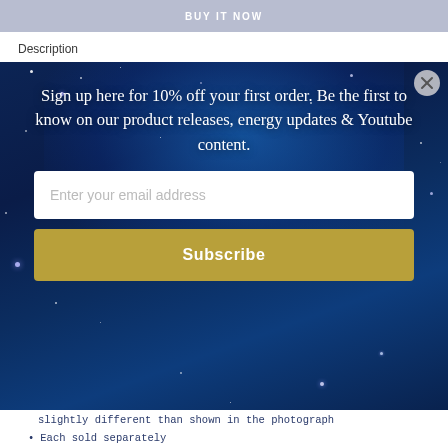[Figure (screenshot): Buy it now button bar at top of page]
Description
[Figure (screenshot): Modal popup with starfield background. Text: Sign up here for 10% off your first order. Be the first to know on our product releases, energy updates & Youtube content. Email input field and Subscribe button.]
slightly different than shown in the photograph
Each sold separately